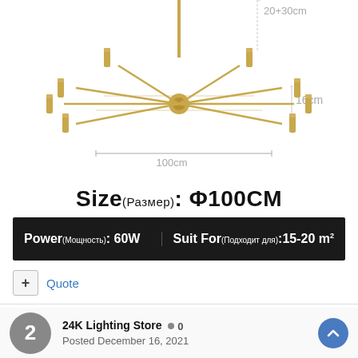[Figure (engineering-diagram): Gold/brass sputnik chandelier with multiple arms and cylindrical bulb holders, shown with dimension annotations: 20+30cm (hanging rod height), 16cm (fixture body height), 100cm (diameter)]
Size(Размер): Φ100CM
| Power(Мощность): 60W | Suit For(Подходит для):15-20m² |
| --- | --- |
+ Quote
2  24K Lighting Store • 0
Posted December 16, 2021